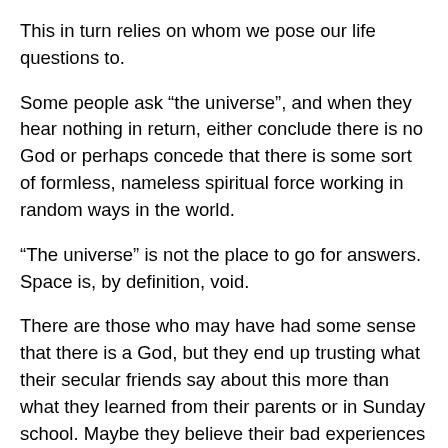This in turn relies on whom we pose our life questions to.
Some people ask “the universe”, and when they hear nothing in return, either conclude there is no God or perhaps concede that there is some sort of formless, nameless spiritual force working in random ways in the world.
“The universe” is not the place to go for answers. Space is, by definition, void.
There are those who may have had some sense that there is a God, but they end up trusting what their secular friends say about this more than what they learned from their parents or in Sunday school. Maybe they believe their bad experiences in life, some of which may involve Christians behaving badly (sadly, all too common an